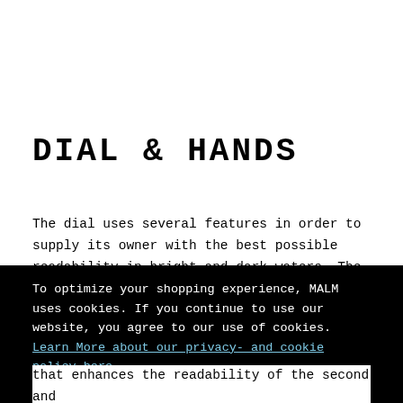DIAL & HANDS
The dial uses several features in order to supply its owner with the best possible readability in bright and dark waters. The dark background creates a clear contrast against the white
To optimize your shopping experience, MALM uses cookies. If you continue to use our website, you agree to our use of cookies. Learn More about our privacy- and cookie policy here.
Ok
that enhances the readability of the second and